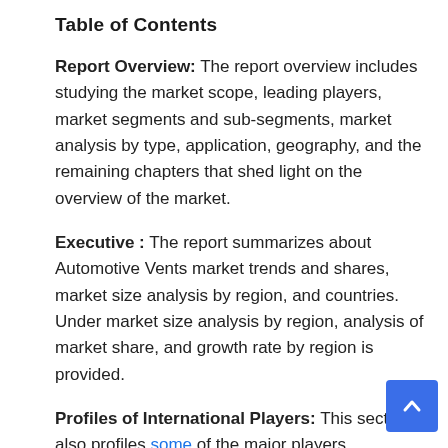Table of Contents
Report Overview:  The report overview includes studying the market scope, leading players, market segments and sub-segments, market analysis by type, application, geography, and the remaining chapters that shed light on the overview of the market.
Executive : The report summarizes about Automotive Vents market trends and shares, market size analysis by region, and countries. Under market size analysis by region, analysis of market share, and growth rate by region is provided.
Profiles of International Players: This section also profiles some of the major players